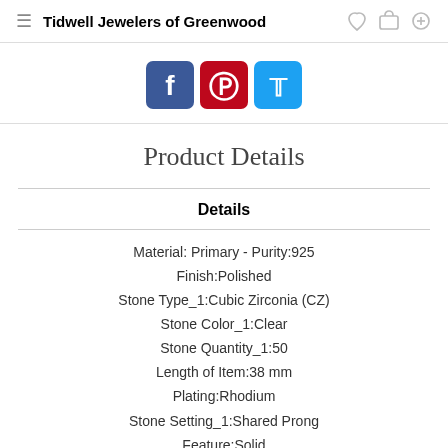Tidwell Jewelers of Greenwood
[Figure (infographic): Social sharing buttons: Facebook (blue), Pinterest (red), Twitter (light blue)]
Product Details
Details
Material: Primary - Purity:925
Finish:Polished
Stone Type_1:Cubic Zirconia (CZ)
Stone Color_1:Clear
Stone Quantity_1:50
Length of Item:38 mm
Plating:Rhodium
Stone Setting_1:Shared Prong
Feature:Solid
Manufacturing Process:Casted